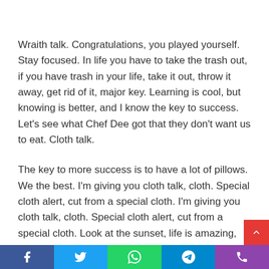Wraith talk. Congratulations, you played yourself. Stay focused. In life you have to take the trash out, if you have trash in your life, take it out, throw it away, get rid of it, major key. Learning is cool, but knowing is better, and I know the key to success. Let's see what Chef Dee got that they don't want us to eat. Cloth talk.
The key to more success is to have a lot of pillows. We the best. I'm giving you cloth talk, cloth. Special cloth alert, cut from a special cloth. I'm giving you cloth talk, cloth. Special cloth alert, cut from a special cloth. Look at the sunset, life is amazing, life is beautiful, life is what you make it. The key to more success is to have a lot of